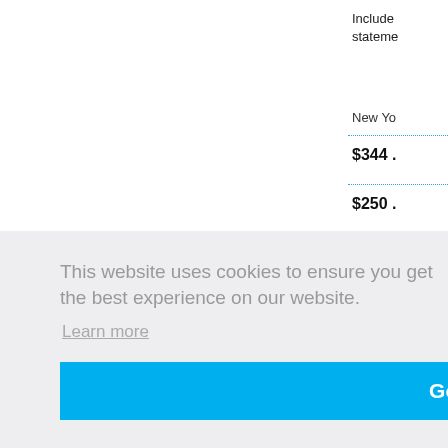Include statements
New Yo
$344 .
$250 .
[Figure (screenshot): Cookie consent banner overlay with text 'This website uses cookies to ensure you get the best experience on our website.' with a Learn more link and a blue Got it! button]